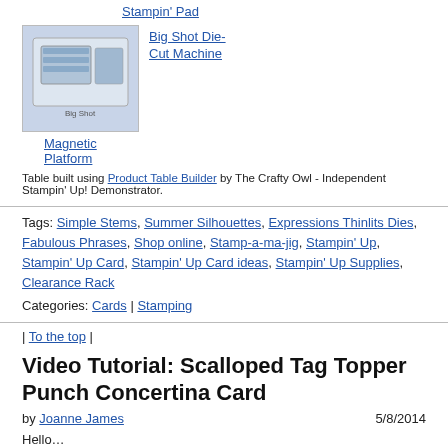Stampin' Pad
[Figure (photo): Product image of Big Shot Die-Cut Machine in box]
Big Shot Die-Cut Machine
Magnetic Platform
Table built using Product Table Builder by The Crafty Owl - Independent Stampin' Up! Demonstrator.
Tags: Simple Stems, Summer Silhouettes, Expressions Thinlits Dies, Fabulous Phrases, Shop online, Stamp-a-ma-jig, Stampin' Up, Stampin' Up Card, Stampin' Up Card ideas, Stampin' Up Supplies, Clearance Rack
Categories: Cards | Stamping
| To the top |
Video Tutorial: Scalloped Tag Topper Punch Concertina Card
by Joanne James  5/8/2014
Hello…